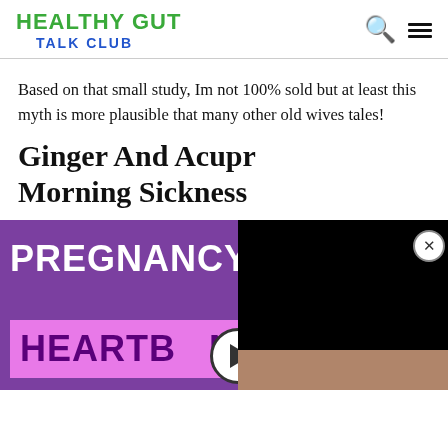HEALTHY GUT TALK CLUB
Based on that small study, Im not 100% sold but at least this myth is more plausible that many other old wives tales!
Ginger And Acupr... Morning Sickness
[Figure (screenshot): Video thumbnail showing 'PREGNANCY HEARTBURN' text on purple background with a woman presenter; a floating black video overlay appears on the right side with a close button.]